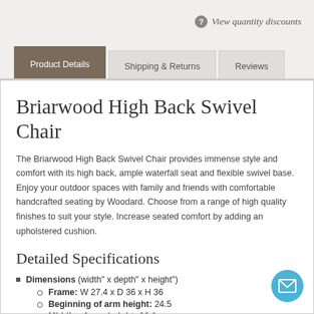View quantity discounts
Briarwood High Back Swivel Chair
The Briarwood High Back Swivel Chair provides immense style and comfort with its high back, ample waterfall seat and flexible swivel base. Enjoy your outdoor spaces with family and friends with comfortable handcrafted seating by Woodard. Choose from a range of high quality finishes to suit your style. Increase seated comfort by adding an upholstered cushion.
Detailed Specifications
Dimensions (width" x depth" x height")
Frame: W 27.4 x D 36 x H 36
Beginning of arm height: 24.5
Middle of arm height: 22.8